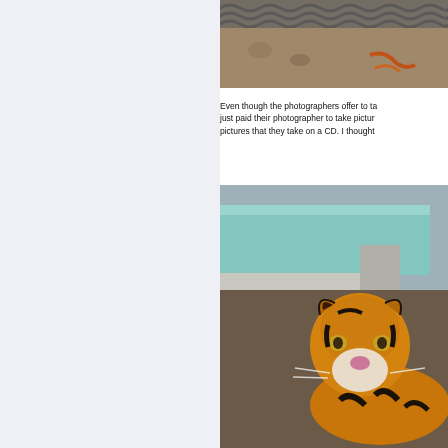[Figure (photo): Close-up photo of sandy/rocky ground with wavy metal grating texture visible at top, and what appears to be orange/red markings on the ground.]
Even though the photographers offer to ta... just paid their photographer to take pictur... pictures that they take on a CD. I thought...
[Figure (photo): A tiger resting on a concrete surface in front of a large pool/tank enclosure, looking upward. The tiger has distinctive orange and black stripes.]